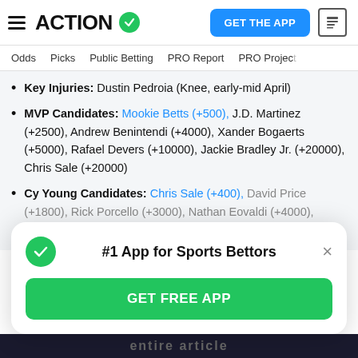ACTION (logo with checkmark) | GET THE APP | news icon
Odds | Picks | Public Betting | PRO Report | PRO Project
Key Injuries: Dustin Pedroia (Knee, early-mid April)
MVP Candidates: Mookie Betts (+500), J.D. Martinez (+2500), Andrew Benintendi (+4000), Xander Bogaerts (+5000), Rafael Devers (+10000), Jackie Bradley Jr. (+20000), Chris Sale (+20000)
Cy Young Candidates: Chris Sale (+400), David Price (+1800), Rick Porcello (+3000), Nathan Eovaldi (+4000), Eduardo Rodriguez (+6000)
[Figure (screenshot): #1 App for Sports Bettors popup with GET FREE APP button]